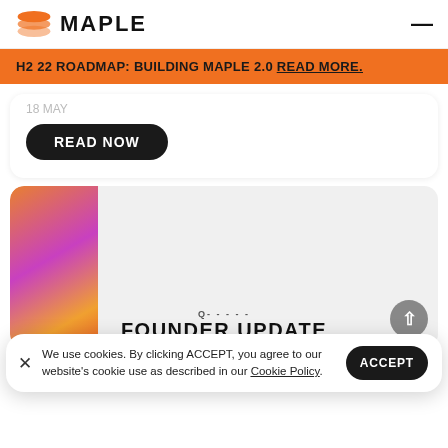[Figure (logo): Maple logo with orange stacked coin icon and bold MAPLE text]
H2 22 ROADMAP: BUILDING MAPLE 2.0 READ MORE.
READ NOW
[Figure (illustration): Colorful 3D abstract shapes on gray card background]
We use cookies. By clicking ACCEPT, you agree to our website's cookie use as described in our Cookie Policy.
ACCEPT
FOUNDER UPDATE